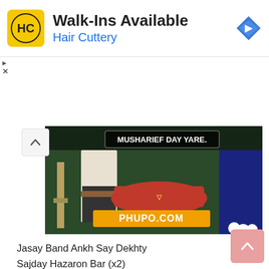[Figure (screenshot): Advertisement banner for Hair Cuttery salon: yellow square logo with HC text, 'Walk-Ins Available' headline, 'Hair Cuttery' subtitle in blue, navigation arrow icon on right]
[Figure (screenshot): Video thumbnail showing people at what appears to be a ceremony or event, with PHUPO.COM orange watermark and text overlay 'MUSHARIEF DAY TARE']
Jasay Band Ankh Say Dekhty
Sajday Hazaron Bar (x2)
Woh He Ishq Tha
Humain Lay Chala (x2)
Jaag Di Haadu Say Paar
Jaag Di Haadu Say Paar (cut off)